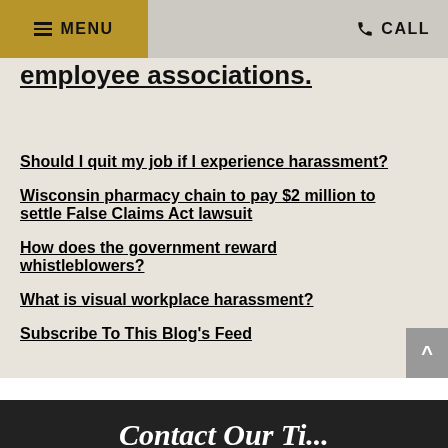MENU | CALL
employee associations.
Should I quit my job if I experience harassment?
Wisconsin pharmacy chain to pay $2 million to settle False Claims Act lawsuit
How does the government reward whistleblowers?
What is visual workplace harassment?
Subscribe To This Blog's Feed